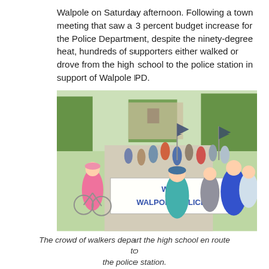Walpole on Saturday afternoon. Following a town meeting that saw a 3 percent budget increase for the Police Department, despite the ninety-degree heat, hundreds of supporters either walked or drove from the high school to the police station in support of Walpole PD.
[Figure (photo): A crowd of people march down a sidewalk on a sunny day. In the foreground, people carry a large banner reading 'We [heart] Walpole Police' in blue letters. Someone is riding a bicycle on the left. People carry American flags and thin blue line flags. Trees and buildings are visible in the background.]
The crowd of walkers depart the high school en route to the police station.
Across from the station, following a moment of silence for those officers lost in the line of duty and the COVID-19 pandemic worldwide, Fr. John Healy from the Blessed Sacrament Church said a prayer. Then, the Pledge of